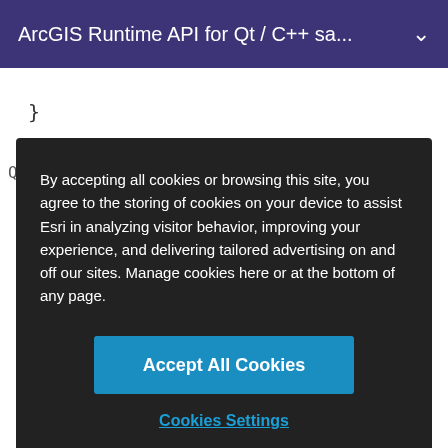ArcGIS Runtime API for Qt / C++ sa...
}
QVariant ConfigureSubnetworkTrace::conver
By accepting all cookies or browsing this site, you agree to the storing of cookies on your device to assist Esri in analyzing visitor behavior, improving your experience, and delivering tailored advertising on and off our sites. Manage cookies here or at the bottom of any page.
Accept All Cookies
Cookies Settings
return value.toFloat();